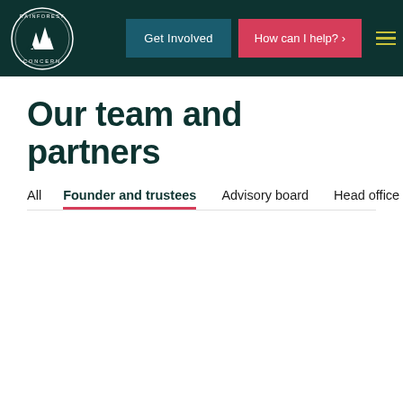[Figure (logo): Rainforest Concern circular logo with white illustration of trees, mountains, and a deer/horse on dark green background with text RAINFOREST CONCERN around the border]
Get Involved | How can I help? > | ☰
Our team and partners
All  Founder and trustees  Advisory board  Head office